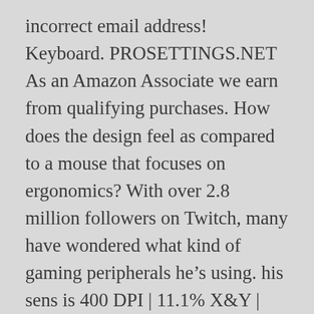incorrect email address! Keyboard. PROSETTINGS.NET As an Amazon Associate we earn from qualifying purchases. How does the design feel as compared to a mouse that focuses on ergonomics? With over 2.8 million followers on Twitch, many have wondered what kind of gaming peripherals he's using. his sens is 400 DPI | 11.1% X&Y | ADS 30.4% | Scope: 39.4%, 400 DPI | 12.8% X&Y | ADS 30.4% | Scope: 39.4% from commands. Gaming mice with laser sensors can track more than 2,000 DPI, while optical mice can only track between 400 to 800 DPI. Leave a Reply Cancel reply. But he's not always a part of The Sentinels, as he previously played for other professional teams in the past, when No Cheaters Dad was raising d